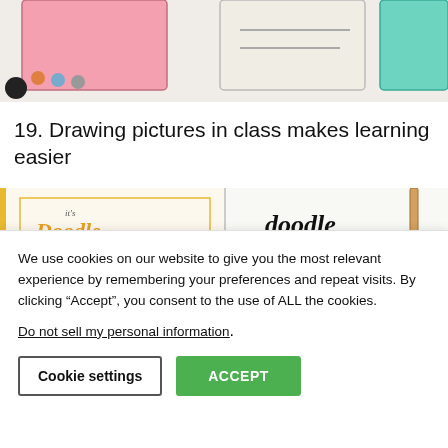[Figure (photo): Top portion of a webpage showing colored paper/sticky note illustrations with pink, white, and teal colored rectangles and circles on a light background]
19. Drawing pictures in class makes learning easier
[Figure (photo): Two doodle journal photos side by side - left shows a colorful autumn-themed doodle page with text 'It's Doodle Time' and illustrated icons in yellow/orange/brown, right shows a black and white doodle page with 'doodle time' lettering and small nature/object icons]
We use cookies on our website to give you the most relevant experience by remembering your preferences and repeat visits. By clicking “Accept”, you consent to the use of ALL the cookies.
Do not sell my personal information.
Cookie settings
ACCEPT